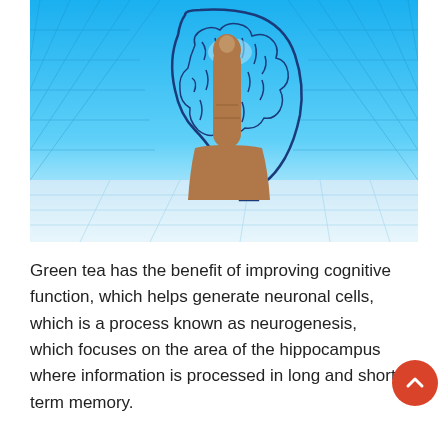[Figure (illustration): A human hand with index finger pointing upward at a blue illustrated outline of a brain inside a human head silhouette, set against a blue geometric grid background.]
Green tea has the benefit of improving cognitive function, which helps generate neuronal cells, which is a process known as neurogenesis, which focuses on the area of the hippocampus where information is processed in long and short term memory.